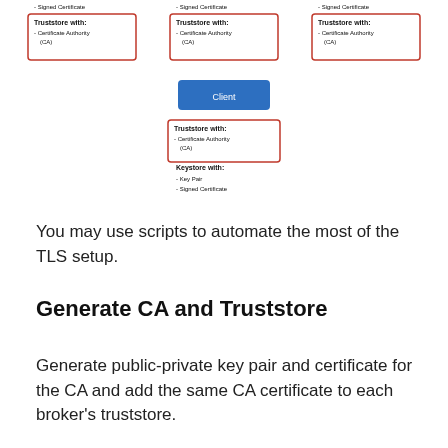[Figure (schematic): Network diagram showing three broker nodes each with a Truststore containing Certificate Authority (CA), and a Client node with Truststore (CA) and Keystore (Key Pair, Signed Certificate). Broker boxes have red borders. Client box is blue. Text above shows 'Signed Certificate' items cut off at top.]
You may use scripts to automate the most of the TLS setup.
Generate CA and Truststore
Generate public-private key pair and certificate for the CA and add the same CA certificate to each broker's truststore.